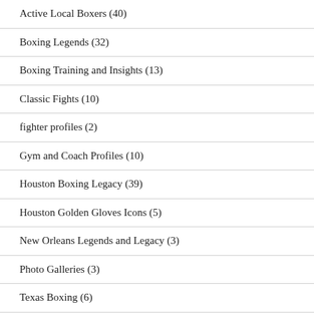Active Local Boxers (40)
Boxing Legends (32)
Boxing Training and Insights (13)
Classic Fights (10)
fighter profiles (2)
Gym and Coach Profiles (10)
Houston Boxing Legacy (39)
Houston Golden Gloves Icons (5)
New Orleans Legends and Legacy (3)
Photo Galleries (3)
Texas Boxing (6)